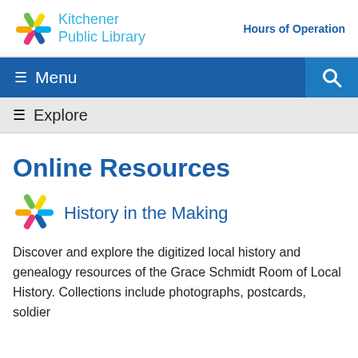Kitchener Public Library | Hours of Operation
≡ Menu
≡ Explore
Online Resources
History in the Making
Discover and explore the digitized local history and genealogy resources of the Grace Schmidt Room of Local History. Collections include photographs, postcards, soldier